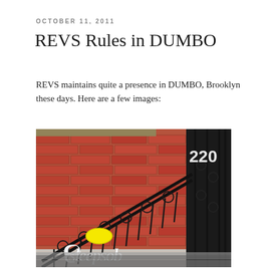OCTOBER 11, 2011
REVS Rules in DUMBO
REVS maintains quite a presence in DUMBO, Brooklyn these days. Here are a few images:
[Figure (photo): A photograph of graffiti art by REVS on a staircase railing in front of a red brick building. White sculptural letters spelling out text are placed along the steps, with a yellow oval shape visible. The building has black ornate ironwork railings and the number 220 visible on a gate.]